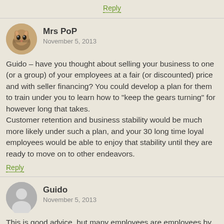Reply
Mrs PoP
November 5, 2013
Guido – have you thought about selling your business to one (or a group) of your employees at a fair (or discounted) price and with seller financing? You could develop a plan for them to train under you to learn how to "keep the gears turning" for however long that takes.
Customer retention and business stability would be much more likely under such a plan, and your 30 long time loyal employees would be able to enjoy that stability until they are ready to move on to other endeavors.
Reply
Guido
November 5, 2013
This is good advice, but many employees are employees by choice and are not destined to be entrepreneurs. There is a pretty big difference really and most are not up for the change and